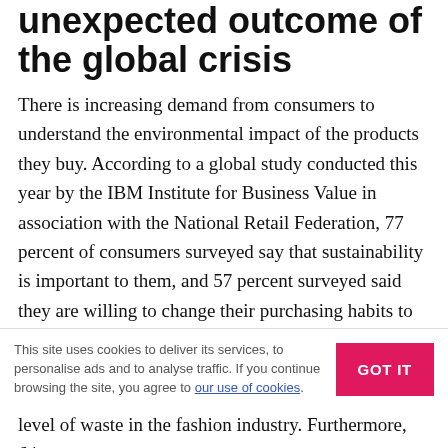unexpected outcome of the global crisis
There is increasing demand from consumers to understand the environmental impact of the products they buy. According to a global study conducted this year by the IBM Institute for Business Value in association with the National Retail Federation, 77 percent of consumers surveyed say that sustainability is important to them, and 57 percent surveyed said they are willing to change their purchasing habits to help reduce negative impact to the environment.
Within the garment industry, these attitudes are more prevalent among and more important to younger
This site uses cookies to deliver its services, to personalise ads and to analyse traffic. If you continue browsing the site, you agree to our use of cookies.
level of waste in the fashion industry. Furthermore, 64